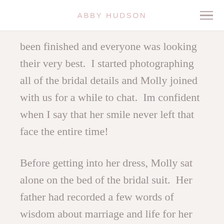ABBY HUDSON
been finished and everyone was looking their very best.  I started photographing all of the bridal details and Molly joined with us for a while to chat.  Im confident when I say that her smile never left that face the entire time!
Before getting into her dress, Molly sat alone on the bed of the bridal suit.  Her father had recorded a few words of wisdom about marriage and life for her with all of his best wishes on this